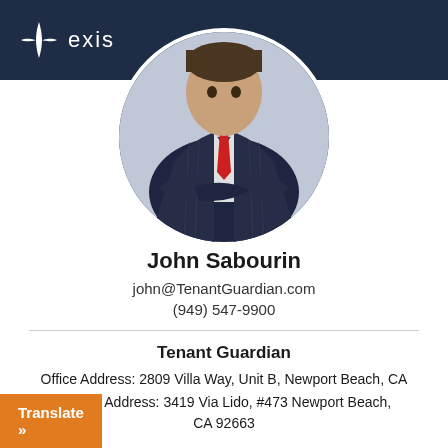[Figure (logo): Exis company logo — white four-pointed star/compass rose icon with the text 'exis' in white on a dark navy background]
[Figure (photo): Circular profile photo of a man in a dark pinstripe suit with a red tie, arms crossed, against a light background]
John Sabourin
john@TenantGuardian.com
(949) 547-9900
Tenant Guardian
Office Address: 2809 Villa Way, Unit B, Newport Beach, CA
Mailing Address: 3419 Via Lido, #473 Newport Beach, CA 92663